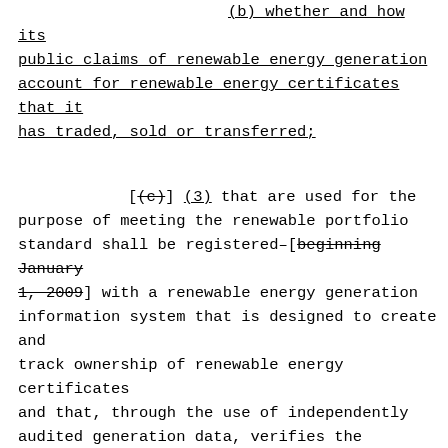(b) whether and how its public claims of renewable energy generation account for renewable energy certificates that it has traded, sold or transferred;
[(c)] (3) that are used for the purpose of meeting the renewable portfolio standard shall be registered–[beginning January 1, 2009] with a renewable energy generation information system that is designed to create and track ownership of renewable energy certificates and that, through the use of independently audited generation data, verifies the generation and delivery of electricity associated with each renewable energy certificate and protects against